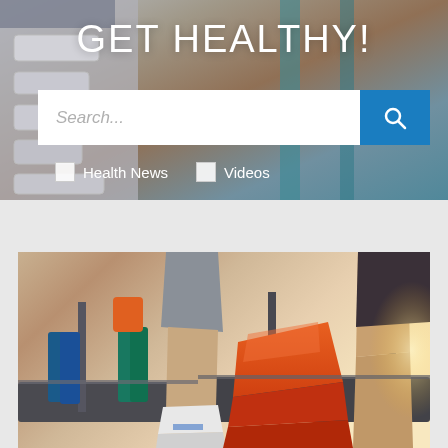GET HEALTHY!
Search...
Health News
Videos
[Figure (photo): People running on treadmills in a gym, close-up of legs and sneakers, bright athletic wear including orange shoes and blue/teal pants]